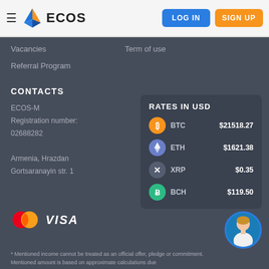[Figure (logo): ECOS logo with blue and orange diamond shape and ECOS text]
LOG IN  SIGN UP
Vacancies
Term of use
Referral Program
CONTACTS
ECOS-M
Registration number:
02688282

Armenia, Hrazdan
Gortsaranayin str. 1
| RATES IN USD |  |  |
| --- | --- | --- |
| BTC | $21518.27 |  |
| ETH | $1621.38 |  |
| XRP | $0.35 |  |
| BCH | $119.50 |  |
[Figure (logo): Mastercard logo (red and orange overlapping circles) and VISA logo]
[Figure (photo): Chat support avatar - woman with blonde hair in white coat]
* Mentioned income cannot be treated as an official offer, pledge or commitment. Mentioned amount is based on approximate calculations due